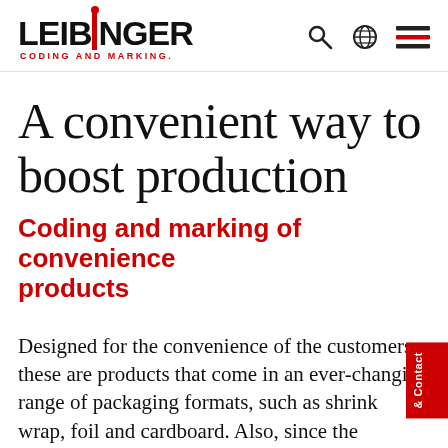[Figure (logo): LEIBINGER Coding and Marking logo with red i accent and red dot]
A convenient way to boost production
Coding and marking of convenience products
Designed for the convenience of the customers, these are products that come in an ever-changing range of packaging formats, such as shrink wrap, foil and cardboard. Also, since the information to be coded onto the packaging changes frequently, coding solutions must be highly flexible. The cod…